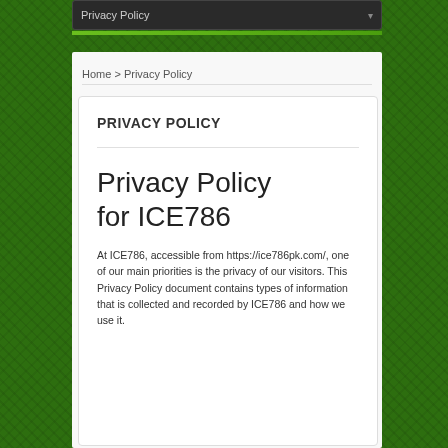Privacy Policy
Home > Privacy Policy
PRIVACY POLICY
Privacy Policy for ICE786
At ICE786, accessible from https://ice786pk.com/, one of our main priorities is the privacy of our visitors. This Privacy Policy document contains types of information that is collected and recorded by ICE786 and how we use it.